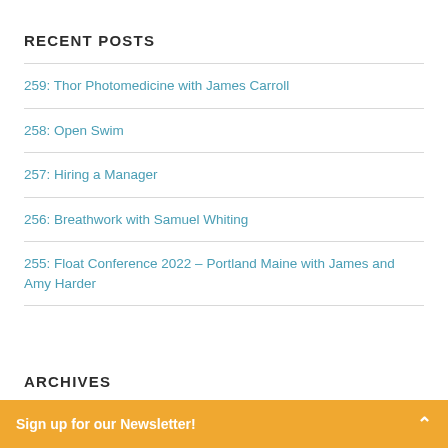RECENT POSTS
259: Thor Photomedicine with James Carroll
258: Open Swim
257: Hiring a Manager
256: Breathwork with Samuel Whiting
255: Float Conference 2022 – Portland Maine with James and Amy Harder
ARCHIVES
Sign up for our Newsletter!